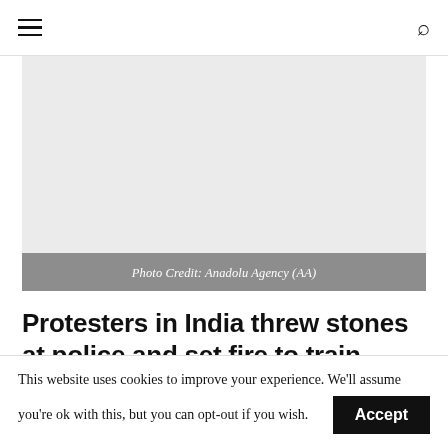≡  🔍
[Figure (photo): Blank/placeholder photo area with grey background]
Photo Credit: Anadolu Agency (AA)
Protesters in India threw stones at police and set fire to train coaches on Friday as demonstrations against a new military recruitment process raged
This website uses cookies to improve your experience. We'll assume you're ok with this, but you can opt-out if you wish. Accept